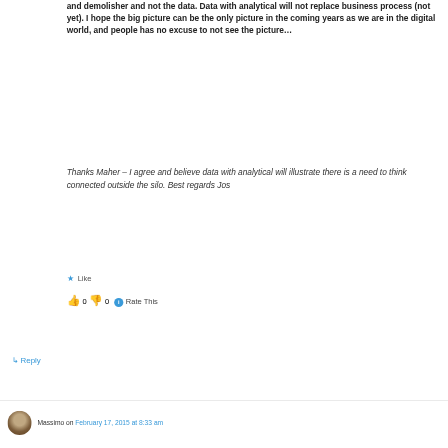and demolisher and not the data. Data with analytical will not replace business process (not yet). I hope the big picture can be the only picture in the coming years as we are in the digital world, and people has no excuse to not see the picture…
Thanks Maher – I agree and believe data with analytical will illustrate there is a need to think connected outside the silo. Best regards Jos
★ Like
👍 0 👎 0 ℹ Rate This
↳ Reply
Massimo on February 17, 2015 at 8:33 am